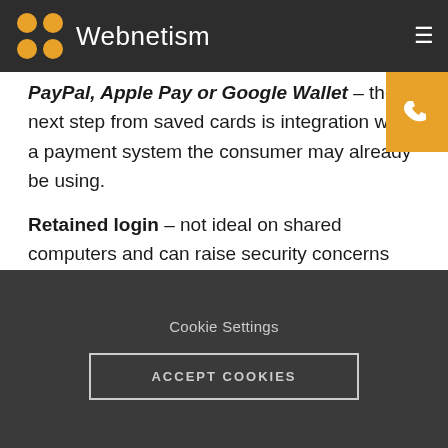Webnetism
PayPal, Apple Pay or Google Wallet – the next step from saved cards is integration with a payment system the consumer may already be using.
Retained login – not ideal on shared computers and can raise security concerns but from the consumers point of view if they understand those concerns and decide to stay logged in it's certainly makes their shopping experience more seamless.
One-click checkout – with the above logins and
Cookie Settings
ACCEPT COOKIES